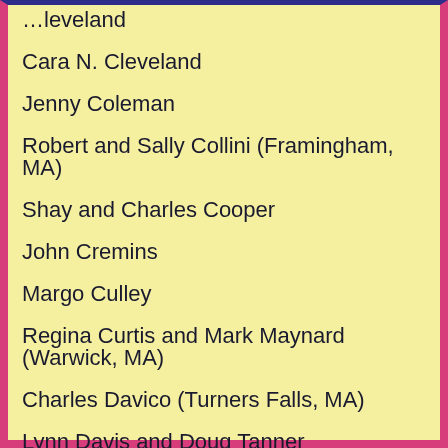…leveland
Cara N. Cleveland
Jenny Coleman
Robert and Sally Collini (Framingham, MA)
Shay and Charles Cooper
John Cremins
Margo Culley
Regina Curtis and Mark Maynard (Warwick, MA)
Charles Davico (Turners Falls, MA)
Lynn Davis and Doug Tanner
Douglas Dawson
Penny and Phil Delorey and family
Asa De Roode